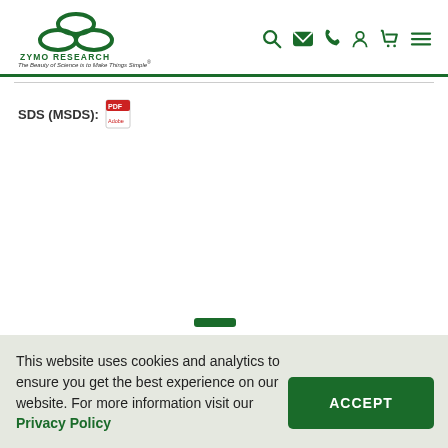[Figure (logo): Zymo Research logo with three oval chain links in green, company name ZYMO RESEARCH, tagline 'The Beauty of Science is to Make Things Simple']
[Figure (other): Navigation icons: search, email, phone, account, cart, menu (hamburger) in green]
SDS (MSDS): [PDF icon]
This website uses cookies and analytics to ensure you get the best experience on our website. For more information visit our Privacy Policy